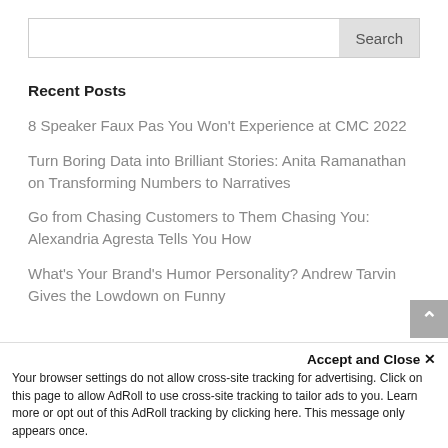[Figure (screenshot): Search bar with text input field and Search button]
Recent Posts
8 Speaker Faux Pas You Won't Experience at CMC 2022
Turn Boring Data into Brilliant Stories: Anita Ramanathan on Transforming Numbers to Narratives
Go from Chasing Customers to Them Chasing You: Alexandria Agresta Tells You How
What's Your Brand's Humor Personality? Andrew Tarvin Gives the Lowdown on Funny
Accept and Close ✕
Your browser settings do not allow cross-site tracking for advertising. Click on this page to allow AdRoll to use cross-site tracking to tailor ads to you. Learn more or opt out of this AdRoll tracking by clicking here. This message only appears once.